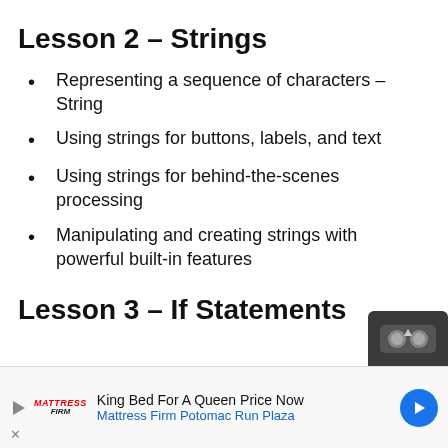Lesson 2 – Strings
Representing a sequence of characters – String
Using strings for buttons, labels, and text
Using strings for behind-the-scenes processing
Manipulating and creating strings with powerful built-in features
Lesson 3 – If Statements
[Figure (other): Dark grey VR/cardboard headset icon in top-right corner near Lesson 3 heading]
King Bed For A Queen Price Now Mattress Firm Potomac Run Plaza